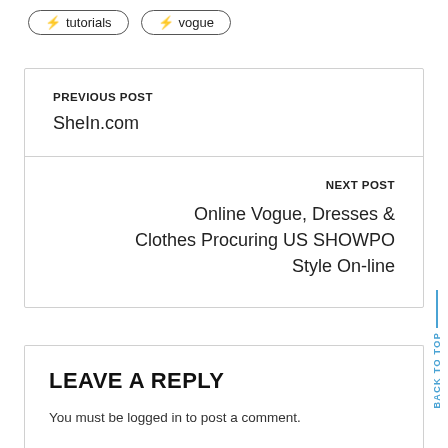⚡ tutorials
⚡ vogue
PREVIOUS POST
SheIn.com
NEXT POST
Online Vogue, Dresses & Clothes Procuring US SHOWPO Style On-line
BACK TO TOP
LEAVE A REPLY
You must be logged in to post a comment.